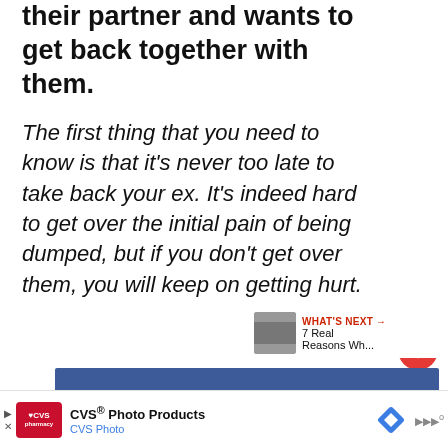their partner and wants to get back together with them.
The first thing that you need to know is that it's never too late to take back your ex. It's indeed hard to get over the initial pain of being dumped, but if you don't get over them, you will keep on getting hurt.
[Figure (other): Blue social media content block (partially visible)]
[Figure (other): Advertisement banner: CVS Photo Products / CVS Photo with logo, navigation diamond and sound icon]